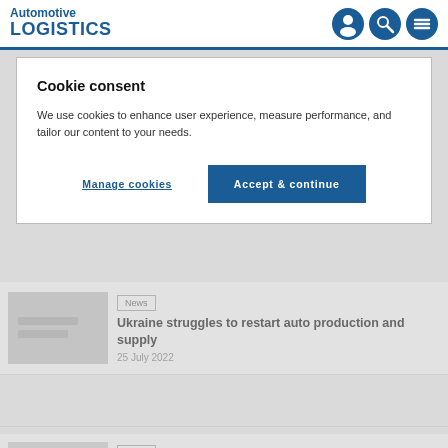Automotive LOGISTICS
Cookie consent
We use cookies to enhance user experience, measure performance, and tailor our content to your needs.
Manage cookies | Accept & continue
[Figure (photo): Thumbnail image showing automotive/logistics related photo, light grey tones]
News
Ukraine struggles to restart auto production and supply
25 July 2022
[Figure (photo): Thumbnail image showing automotive/logistics related photo, light grey tones]
News
Mercedes hampered by Q2 parts shortages